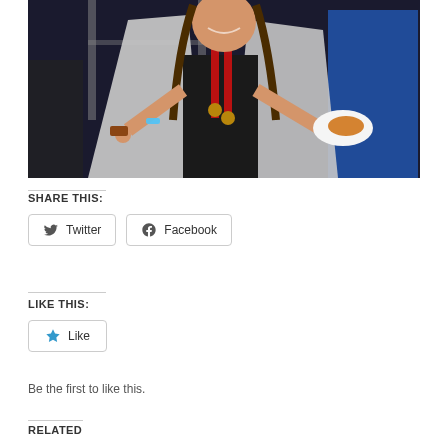[Figure (photo): A smiling woman wearing a black outfit, a red lanyard with medals, and a silver mylar thermal blanket wrap, holding food items at what appears to be an outdoor event or race finish line.]
SHARE THIS:
Twitter  Facebook
LIKE THIS:
Like
Be the first to like this.
RELATED